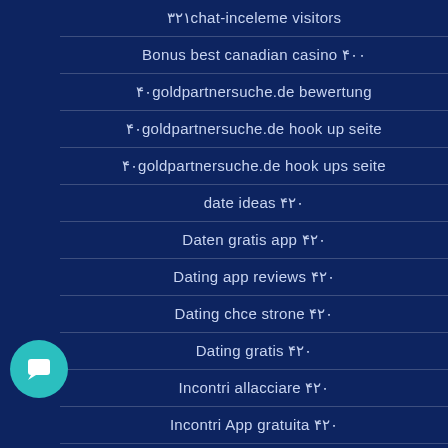۳۲۱chat-inceleme visitors
Bonus best canadian casino ۴۰۰
۴۰goldpartnersuche.de bewertung
۴۰goldpartnersuche.de hook up seite
۴۰goldpartnersuche.de hook ups seite
date ideas ۴۲۰
Daten gratis app ۴۲۰
Dating app reviews ۴۲۰
Dating chce strone ۴۲۰
Dating gratis ۴۲۰
Incontri allacciare ۴۲۰
Incontri App gratuita ۴۲۰
citas visitors ۵۲۰